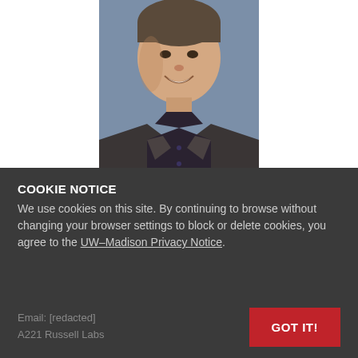[Figure (photo): Professional headshot of a man in a dark blazer and dark shirt, smiling, against a blue-grey background. Photo is cropped at the top showing from mid-forehead down.]
COOKIE NOTICE
We use cookies on this site. By continuing to browse without changing your browser settings to block or delete cookies, you agree to the UW–Madison Privacy Notice.
Email: [redacted]
A221 Russell Labs